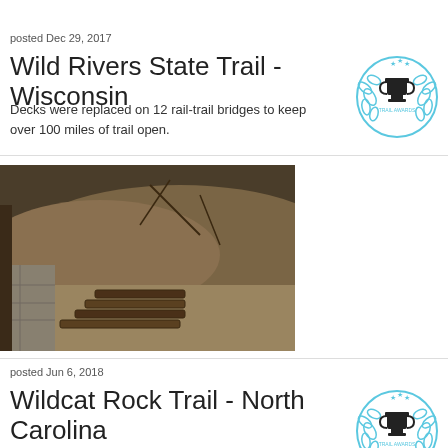posted Dec 29, 2017
Wild Rivers State Trail - Wisconsin
Decks were replaced on 12 rail-trail bridges to keep over 100 miles of trail open.
[Figure (illustration): Trail Awards trophy badge icon - blue laurel wreath with black trophy and text TRAIL AWARDS]
[Figure (photo): Outdoor trail photo showing wooden log steps on a hillside with dirt and brush in the background]
posted Jun 6, 2018
Wildcat Rock Trail - North Carolina
[Figure (illustration): Trail Awards trophy badge icon - blue laurel wreath with black trophy and text TRAIL AWARDS]